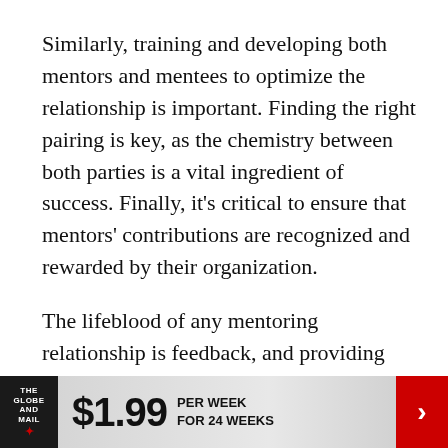Similarly, training and developing both mentors and mentees to optimize the relationship is important. Finding the right pairing is key, as the chemistry between both parties is a vital ingredient of success. Finally, it's critical to ensure that mentors' contributions are recognized and rewarded by their organization.
The lifeblood of any mentoring relationship is feedback, and providing data to support teachable moments is important. Increasingly, technology is playing a part in providing regular real-time feedback and my firm, Borden Ladner Gervais (BLG), has recently introduced such a technology. "Feedback in a Snapshot," which has a 200...
[Figure (other): Advertisement banner for The Globe and Mail: $1.99 per week for 24 weeks, with red arrow on right side]